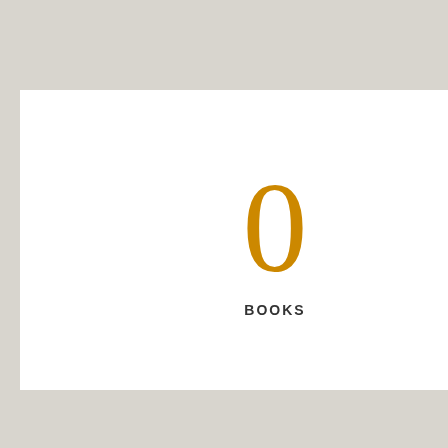[Figure (infographic): A white box on grey background showing the number 0 in large orange text with 'BOOKS' label below in small caps]
decency is constantly re instance, you can blogg all be all for blogging. through for you to be e Possibly.
Affiliate Marketing
Then you are on your w on the web, if you pres Countless individuals a blog site today. It's an e of time selling or mana for it.
However John didn't ev to marketed online. Ho not daily, however 3 ti in which John did it, du techniques. All he did w